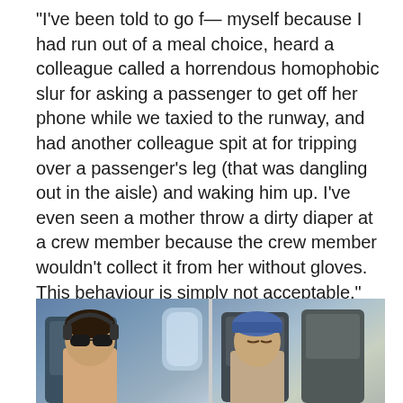“I’ve been told to go f— myself because I had run out of a meal choice, heard a colleague called a horrendous homophobic slur for asking a passenger to get off her phone while we taxied to the runway, and had another colleague spit at for tripping over a passenger’s leg (that was dangling out in the aisle) and waking him up. I’ve even seen a mother throw a dirty diaper at a crew member because the crew member wouldn’t collect it from her without gloves. This behaviour is simply not acceptable.”
Wow – pretty bad hey?
Just for a moment let’s compare economy with first class
…
[Figure (photo): Split photo showing two airplane passengers: on the left, a man wearing sunglasses and headphones sitting in an airplane seat; on the right, a person wearing a blue cap appearing to be asleep in an airplane seat with another passenger visible behind.]